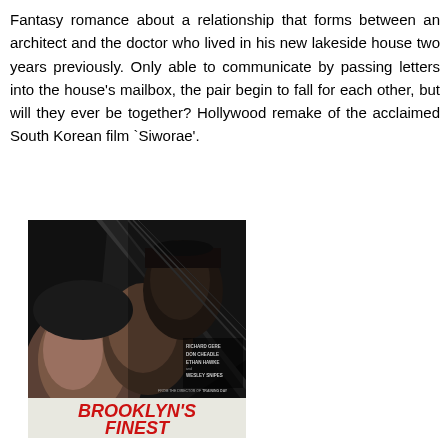Fantasy romance about a relationship that forms between an architect and the doctor who lived in his new lakeside house two years previously. Only able to communicate by passing letters into the house's mailbox, the pair begin to fall for each other, but will they ever be together? Hollywood remake of the acclaimed South Korean film `Siworae'.
[Figure (photo): Movie poster for Brooklyn's Finest showing three faces (Richard Gere, Don Cheadle, Ethan Hawke) against a dark background with the title in large red stylized text and cast names listed. Tagline: THIS IS WAR. THIS IS BROOKLYN.]